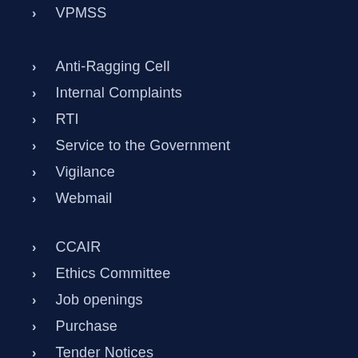VPMSS
Anti-Ragging Cell
Internal Complaints
RTI
Service to the Government
Vigilance
Webmail
CCAIR
Ethics Committee
Job openings
Purchase
Tender Notices
NIRF
Circulars